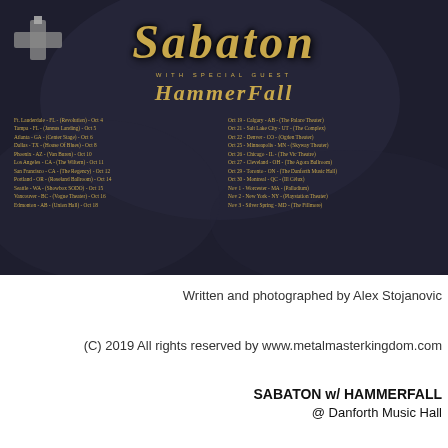[Figure (illustration): Sabaton concert tour promotional poster with HammerFall as special guest, showing band logos in ornate gold gothic lettering on dark fantasy background, with two columns of North American tour dates listed]
Written and photographed by Alex Stojanovic
(C) 2019 All rights reserved by www.metalmasterkingdom.com
SABATON w/ HAMMERFALL @ Danforth Music Hall